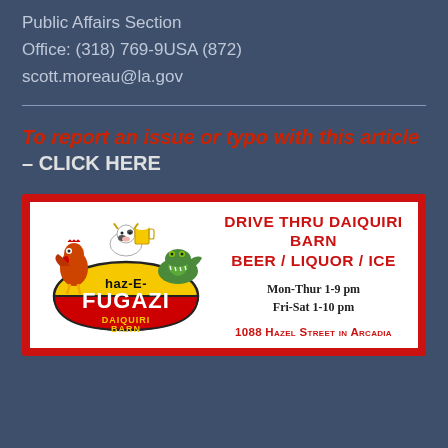Public Affairs Section
Office: (318) 769-9USA (872)
scott.moreau@la.gov
To report an issue or typo with this article – CLICK HERE
[Figure (illustration): Advertisement for haz-E-Fugazi Drive Thru Daiquiri Barn. Red border with white interior. Cartoon mascots (chicken, cow with beer mug, alligator) on left side with haz-E-Fugazi Daiquiri Barn logo oval. Right side: DRIVE THRU DAIQUIRI BARN BEER / LIQUOR / ICE in red bold text, Mon-Thur 1-9 pm Fri-Sat 1-10 pm in dark text, 1088 HAZEL STREET IN ARCADIA in red small-caps.]